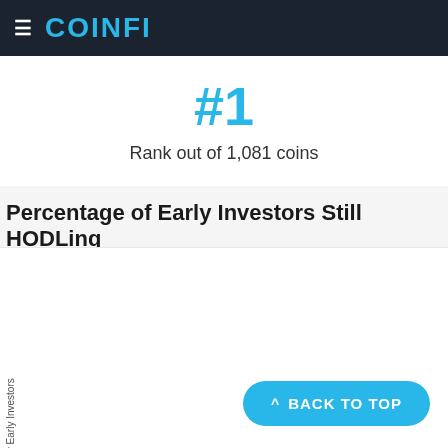COINFI
#1
Rank out of 1,081 coins
Percentage of Early Investors Still HODLing
[Figure (other): Chart area for Percentage of Early Investors Still HODLing — chart content partially visible with y-axis label 'by Early Investors']
BACK TO TOP